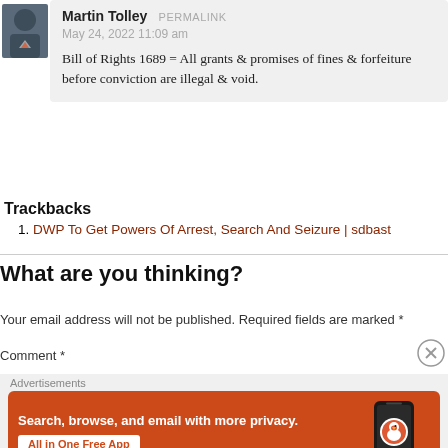[Figure (photo): Avatar photo of Martin Tolley, person wearing dark clothing with logo]
Martin Tolley PERMALINK
May 24, 2022 11:09 am
Bill of Rights 1689 = All grants & promises of fines & forfeitures before conviction are illegal & void.
Trackbacks
DWP To Get Powers Of Arrest, Search And Seizure | sdbast
What are you thinking?
Your email address will not be published. Required fields are marked *
Comment *
[Figure (screenshot): DuckDuckGo advertisement: Search, browse, and email with more privacy. All in One Free App. Shows phone with DuckDuckGo logo.]